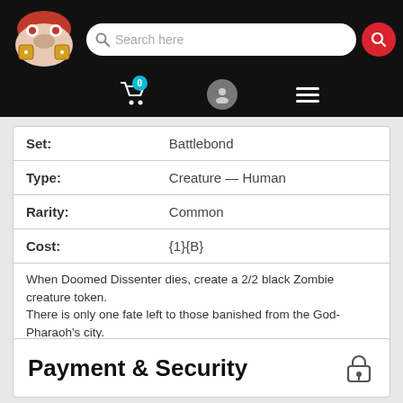Search here
| Field | Value |
| --- | --- |
| Set: | Battlebond |
| Type: | Creature — Human |
| Rarity: | Common |
| Cost: | {1}{B} |
When Doomed Dissenter dies, create a 2/2 black Zombie creature token.
There is only one fate left to those banished from the God-Pharaoh's city.
Payment & Security